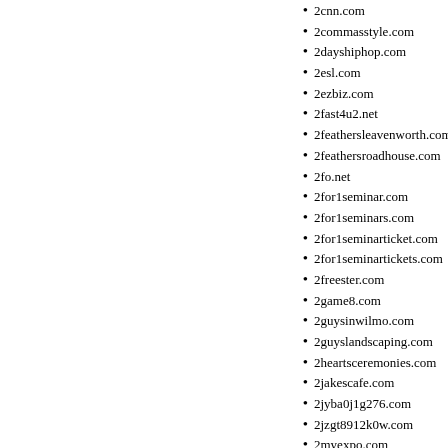2cnn.com
2commasstyle.com
2dayshiphop.com
2esl.com
2ezbiz.com
2fast4u2.net
2feathersleavenworth.com
2feathersroadhouse.com
2fo.net
2for1seminar.com
2for1seminars.com
2for1seminarticket.com
2for1seminartickets.com
2freester.com
2game8.com
2guysinwilmo.com
2guyslandscaping.com
2heartsceremonies.com
2jakescafe.com
2jyba0j1g276.com
2jzgt8912k0w.com
2myexpo.com
2ndchancehomefinancing.co
2persoonsbed.com
2sharp2beflat.com
2sti.com
2swimfit.net
2thecaribbean.com